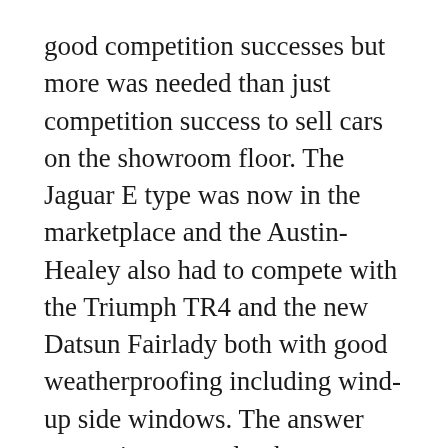good competition successes but more was needed than just competition success to sell cars on the showroom floor. The Jaguar E type was now in the marketplace and the Austin-Healey also had to compete with the Triumph TR4 and the new Datsun Fairlady both with good weatherproofing including wind-up side windows. The answer was going to need to be a new body style and this appeared in 1962 complete with wind-up side windows with quarter vents and matching new windscreen. The engine traded the triple SU carburettor set up for a pair of SU HS6 which did not affect the power output but was less for context. The hi...